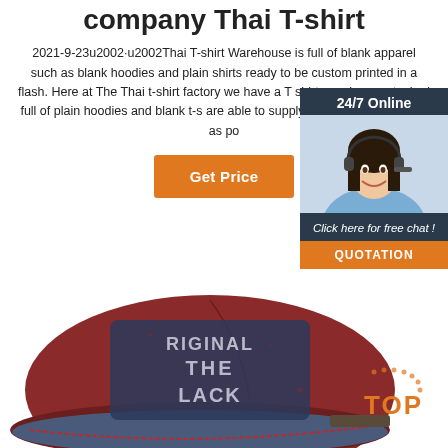company Thai T-shirt
2021-9-23u2002·u2002Thai T-shirt Warehouse is full of blank apparel such as blank hoodies and plain shirts ready to be custom printed in a flash. Here at The Thai t-shirt factory we have a T shirt warehouse stocked full of plain hoodies and blank t-s... are able to supply our customers as fast as po...
[Figure (photo): Customer service agent - woman with headset smiling, with '24/7 Online' header, 'Click here for free chat!' text, and 'QUOTATION' orange button]
[Figure (photo): Red and blue vintage baseball cap with 'ORIGINAL THE BLACK' text stitched on front]
[Figure (other): TOP button with orange dots decoration]